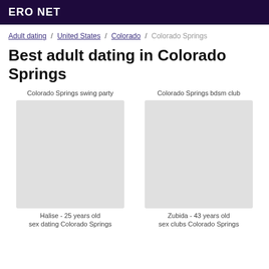ERO NET
Adult dating / United States / Colorado / Colorado Springs
Best adult dating in Colorado Springs
Colorado Springs swing party
Colorado Springs bdsm club
Halise - 25 years old
Zubida - 43 years old
sex dating Colorado Springs
sex clubs Colorado Springs